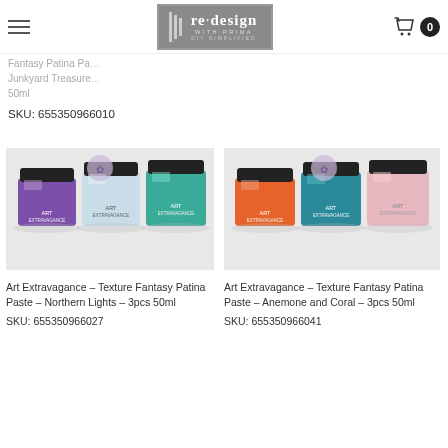re·design WITH PRIMA - DIY SIMPLIFIED
Fantasy Patina Paste – Junkyard Treasure – 50ml
SKU: 655350966010
[Figure (photo): Three jars of Art Extravagance Texture Fantasy Patina Paste – Northern Lights, purple, light blue, and teal colors]
Art Extravagance – Texture Fantasy Patina Paste – Northern Lights – 3pcs 50ml
SKU: 655350966027
[Figure (photo): Three jars of Art Extravagance Texture Fantasy Patina Paste – Anemone and Coral, orange, teal, and pink colors]
Art Extravagance – Texture Fantasy Patina Paste – Anemone and Coral – 3pcs 50ml
SKU: 655350966041